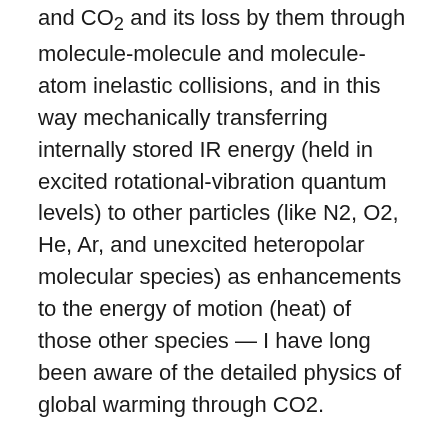and CO2 and its loss by them through molecule-molecule and molecule-atom inelastic collisions, and in this way mechanically transferring internally stored IR energy (held in excited rotational-vibration quantum levels) to other particles (like N2, O2, He, Ar, and unexcited heteropolar molecular species) as enhancements to the energy of motion (heat) of those other species — I have long been aware of the detailed physics of global warming through CO2.
Between 1978 and 2007, I had a physics experimentalist job that was dominated by nuclear radiation physics, as well as including aspects of plasma physics, magnetohydrodynamics, classical hydrodynamics, physical chemistry, and electronics. Also, throughout my entire scientific life, up to the present, I have done a great deal of mathematical physics modeling, mainly analytical